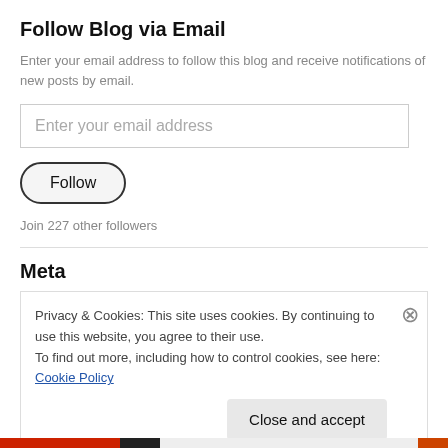Follow Blog via Email
Enter your email address to follow this blog and receive notifications of new posts by email.
Enter your email address
Follow
Join 227 other followers
Meta
Privacy & Cookies: This site uses cookies. By continuing to use this website, you agree to their use.
To find out more, including how to control cookies, see here: Cookie Policy
Close and accept